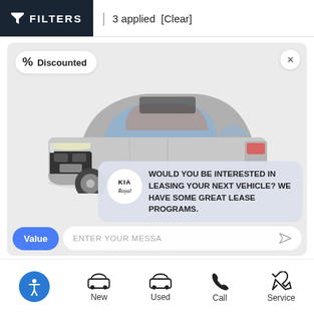FILTERS | 3 applied [Clear]
[Figure (screenshot): A Kia SUV (silver) dealership listing card with a 'Discounted' badge, a chat bubble from Kia Royal dealer saying 'WOULD YOU BE INTERESTED IN LEASING YOUR NEXT VEHICLE? WE HAVE SOME GREAT LEASE PROGRAMS.' and a message input field reading 'ENTER YOUR MESSA']
WOULD YOU BE INTERESTED IN LEASING YOUR NEXT VEHICLE? WE HAVE SOME GREAT LEASE PROGRAMS.
ENTER YOUR MESSA
New   Used   Call   Service